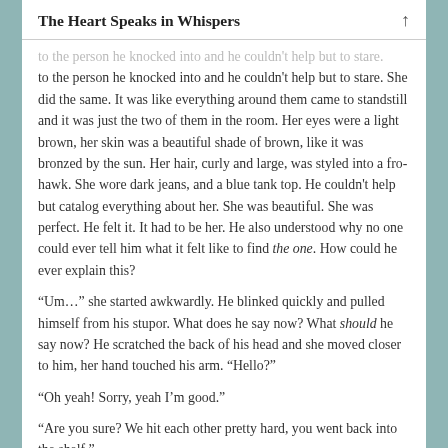The Heart Speaks in Whispers
to the person he knocked into and he couldn't help but to stare. She did the same. It was like everything around them came to standstill and it was just the two of them in the room. Her eyes were a light brown, her skin was a beautiful shade of brown, like it was bronzed by the sun. Her hair, curly and large, was styled into a fro-hawk. She wore dark jeans, and a blue tank top. He couldn't help but catalog everything about her. She was beautiful. She was perfect. He felt it. It had to be her. He also understood why no one could ever tell him what it felt like to find the one. How could he ever explain this?
“Um…” she started awkwardly. He blinked quickly and pulled himself from his stupor. What does he say now? What should he say now? He scratched the back of his head and she moved closer to him, her hand touched his arm. “Hello?”
“Oh yeah! Sorry, yeah I’m good.”
“Are you sure? We hit each other pretty hard, you went back into the shelf.”
“Yeah no, I’m mean, yeah. It hurt. But I’m good. Nothing I can’t